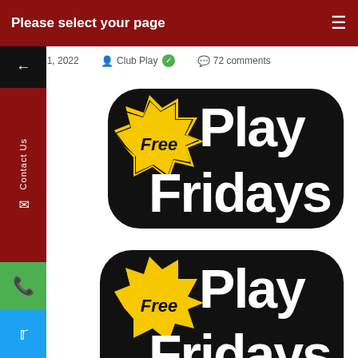Please select your page
July 1, 2022   Club Play ✓   72 comments
[Figure (logo): Free Play Fridays logo — bold black retro lettering with yellow starburst badge saying 'Free']
[Figure (logo): Free Play Fridays logo (second instance, partially cropped) — same bold black retro lettering with yellow starburst badge saying 'Free']